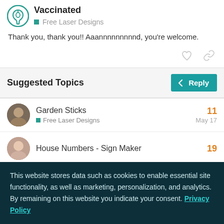Vaccinated — Free Laser Designs
Thank you, thank you!! Aaannnnnnnnnd, you're welcome.
Suggested Topics
Garden Sticks — Free Laser Designs — 11 — May 17
House Numbers - Sign Maker — 19
This website stores data such as cookies to enable essential site functionality, as well as marketing, personalization, and analytics. By remaining on this website you indicate your consent. Privacy Policy